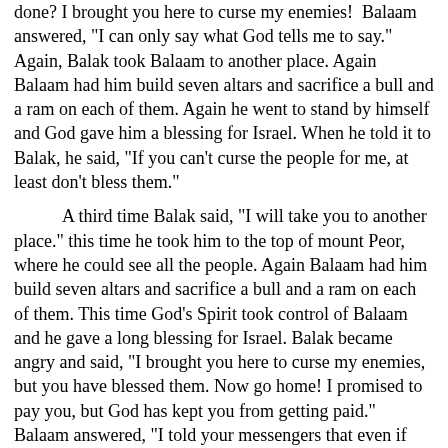done? I brought you here to curse my enemies!" Balaam answered, "I can only say what God tells me to say." Again, Balak took Balaam to another place. Again Balaam had him build seven altars and sacrifice a bull and a ram on each of them. Again he went to stand by himself and God gave him a blessing for Israel. When he told it to Balak, he said, "If you can't curse the people for me, at least don't bless them."
A third time Balak said, "I will take you to another place." this time he took him to the top of mount Peor, where he could see all the people. Again Balaam had him build seven altars and sacrifice a bull and a ram on each of them. This time God's Spirit took control of Balaam and he gave a long blessing for Israel. Balak became angry and said, "I brought you here to curse my enemies, but you have blessed them. Now go home! I promised to pay you, but God has kept you from getting paid." Balaam answered, "I told your messengers that even if you gave me a house full of silver and gold, I could not disobey God. I can only say what God tells me to say." Then Balaam gave a prophesy about the Israelites and went back home.
Later, However, Balaam returned and told Balak that if he would have the Moabite and Midianite woman commit fornication with the Israelite men and lead them to worship idols, God would get mad at the Israelites. This Happened and God did destroy 24,000 Israelites who sinned. But He then also told the Israelites to